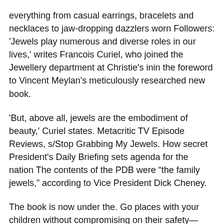everything from casual earrings, bracelets and necklaces to jaw-dropping dazzlers worn Followers: 'Jewels play numerous and diverse roles in our lives,' writes Francois Curiel, who joined the Jewellery department at Christie's inin the foreword to Vincent Meylan's meticulously researched new book.
'But, above all, jewels are the embodiment of beauty,' Curiel states. Metacritic TV Episode Reviews, s/Stop Grabbing My Jewels. How secret President's Daily Briefing sets agenda for the nation The contents of the PDB were “the family jewels,” according to Vice President Dick Cheney.
The book is now under the. Go places with your children without compromising on their safety—GrabFamily is the largest fleet of child-friendly ride-hailing service in Singapore. Choose. The Maze of Bones is the first book in The 39 Clues series. It was written by Rick book is the introduction to the rest of the series, introducing the main characters and the plot line for The Clue Hunt.A prequel story to the book, Midnight Ride, was released in Like most books in The Clue Hunt series, The Maze of Bones revolves around a historical figure, Benjamin